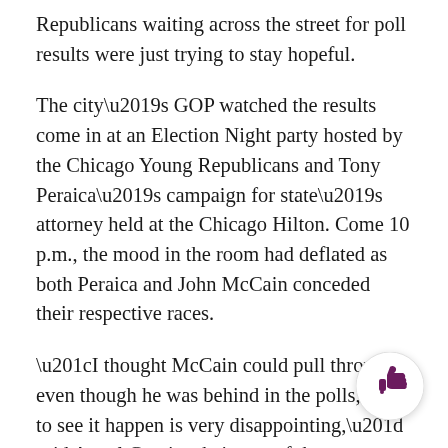Republicans waiting across the street for poll results were just trying to stay hopeful.
The city’s GOP watched the results come in at an Election Night party hosted by the Chicago Young Republicans and Tony Peraica’s campaign for state’s attorney held at the Chicago Hilton. Come 10 p.m., the mood in the room had deflated as both Peraica and John McCain conceded their respective races.
“I thought McCain could pull through even though he was behind in the polls, but to see it happen is very disappointing,” said Angel Garcia, chairman of the Republican National Hispanic Assembly of Cook County.
David Valkema, president of the Log Cabin Republicans, a gay Republican coalition, said he does not believe in Obama’s promises.
“McCain was all over gay issues, but obviously the gay
[Figure (illustration): A circular button/badge with a thumbs-up icon in dark purple/maroon color on white background, positioned at lower right corner of the page.]